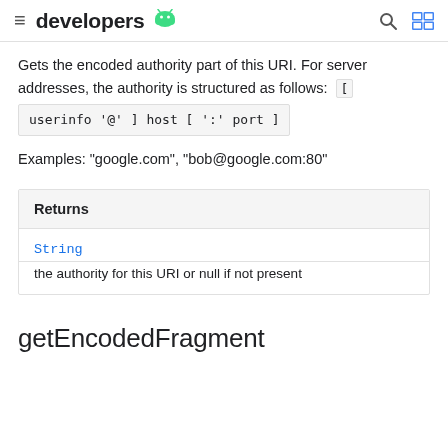developers
Gets the encoded authority part of this URI. For server addresses, the authority is structured as follows: [ userinfo '@' ] host [ ':' port ]
Examples: "google.com", "bob@google.com:80"
| Returns |
| --- |
| String | the authority for this URI or null if not present |
getEncodedFragment